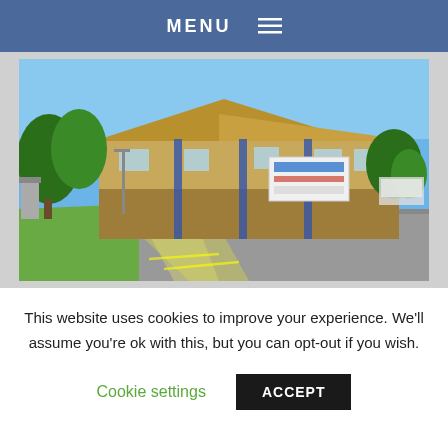MENU ☰
[Figure (photo): Exterior photograph of a two-storey medical/office building with a tan/golden tiled roof, brick facade with blue accents, and a prominent signage board. Large trees visible on the left, a road and car park in the foreground, blue sky background.]
This website uses cookies to improve your experience. We'll assume you're ok with this, but you can opt-out if you wish.
Cookie settings
ACCEPT